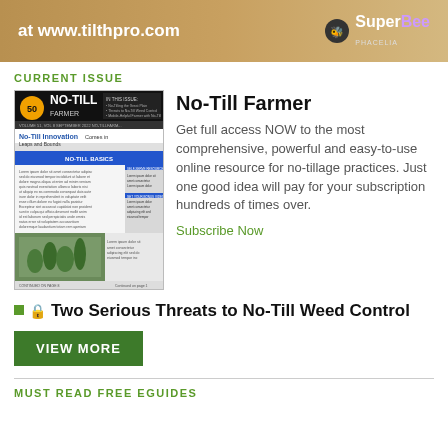[Figure (illustration): Banner advertisement for tilthpro.com featuring SuperBee Phacelia branding on a tan/brown background]
CURRENT ISSUE
[Figure (illustration): Thumbnail cover of No-Till Farmer magazine showing No-Till Innovation article with crop field photo]
No-Till Farmer
Get full access NOW to the most comprehensive, powerful and easy-to-use online resource for no-tillage practices. Just one good idea will pay for your subscription hundreds of times over.
Subscribe Now
Two Serious Threats to No-Till Weed Control
VIEW MORE
MUST READ FREE EGUIDES